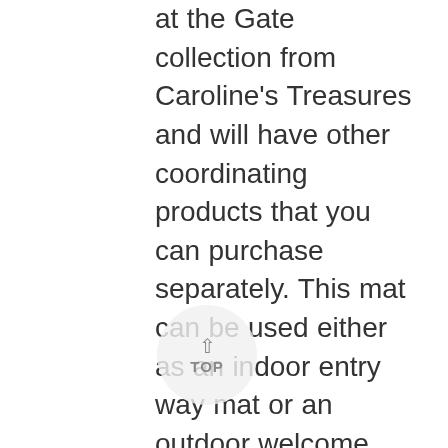at the Gate collection from Caroline's Treasures and will have other coordinating products that you can purchase separately. This mat can be used either as an indoor entry way mat or an outdoor welcome mat. The mat measures 27 inches on the longest side and 18 inches from the back of the mat to the front. The mat is about 1/4 inch thick and provides an easy clearance for most doors. The top layer of this decorative mat is a polyester felt. This floor mat has been permanently dyed in our facility in Mobile, Alabama. Use a garden hose to chase the dirt off of the mat. Build up pressure with your thumb on the hose and then run the water away from the mat